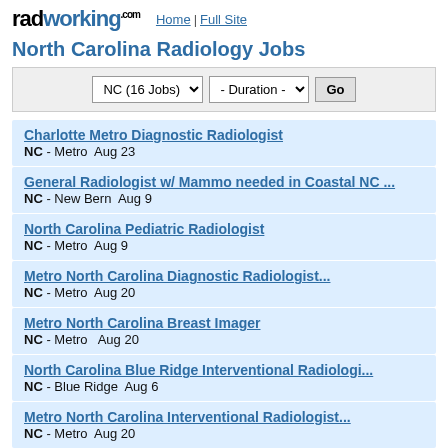radworking.com | Home | Full Site
North Carolina Radiology Jobs
NC (16 Jobs) | - Duration - | Go
Charlotte Metro Diagnostic Radiologist — NC - Metro  Aug 23
General Radiologist w/ Mammo needed in Coastal NC ... — NC - New Bern  Aug 9
North Carolina Pediatric Radiologist — NC - Metro  Aug 9
Metro North Carolina Diagnostic Radiologist... — NC - Metro  Aug 20
Metro North Carolina Breast Imager — NC - Metro  Aug 20
North Carolina Blue Ridge Interventional Radiologi... — NC - Blue Ridge  Aug 6
Metro North Carolina Interventional Radiologist... — NC - Metro  Aug 20